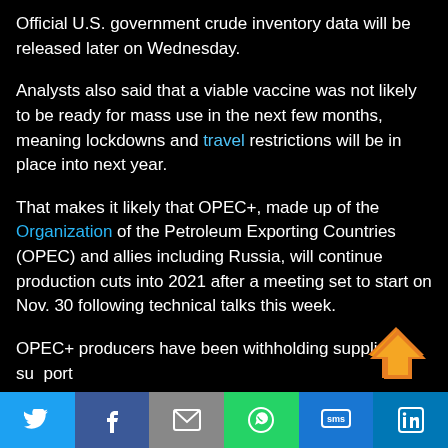Official U.S. government crude inventory data will be released later on Wednesday.
Analysts also said that a viable vaccine was not likely to be ready for mass use in the next few months, meaning lockdowns and travel restrictions will be in place into next year.
That makes it likely that OPEC+, made up of the Organization of the Petroleum Exporting Countries (OPEC) and allies including Russia, will continue production cuts into 2021 after a meeting set to start on Nov. 30 following technical talks this week.
OPEC+ producers have been withholding supplies to support
[Figure (infographic): Social sharing bar at bottom with Twitter, Facebook, Email, WhatsApp, SMS, LinkedIn buttons]